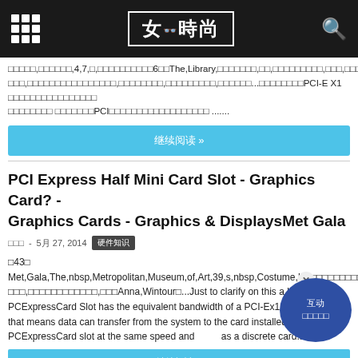女 時尚
□□□□□,□□□□□□,4,7,□,□□□□□□□□□□6□□The,Library,□□□□□□□,□□,□□□□□□□□□,□□□,□□□□□□□□□□□□□□□,□□□□□□□□□□□□□□□□,□□□□□□□□,□□□□□□□□□,□□□□□□...□□□□□□□□PCI-E X1 □□□□□□□□□□□□□□□□□□□□□□□□□□□□□□□□□□PCI□□□□□□□□□□□□□□□□□□ .......
继续阅读 »
PCI Express Half Mini Card Slot - Graphics Card? - Graphics Cards - Graphics & DisplaysMet Gala
admin  -  5月 27, 2014  硬件知识
□43□
Met,Gala,The,nbsp,Metropolitan,Museum,of,Art,39,s,nbsp,Costume,Ins□□□□□□□□□□□□□□□□□,□□□□,□□□□□□□□□,□□□,□□□□,□□□□□□□□□□,□□□□□□□,□□□□□□□□□□□□□□□□□□□□□□□,□□□□□□□□□□□□,□□□Anna,Wintour□...Just to clarify on this a bit: The PCExpressCard Slot has the equivalent bandwidth of a PCI-Ex1 slot. Basically, that means data can transfer from the system to the card installed in the PCExpressCard slot at the same speed and quality as a discrete card...